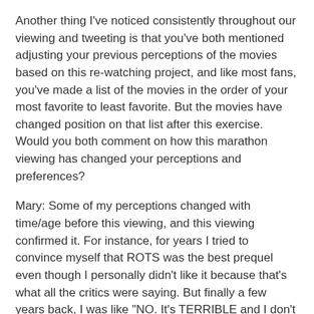Another thing I've noticed consistently throughout our viewing and tweeting is that you've both mentioned adjusting your previous perceptions of the movies based on this re-watching project, and like most fans, you've made a list of the movies in the order of your most favorite to least favorite. But the movies have changed position on that list after this exercise. Would you both comment on how this marathon viewing has changed your perceptions and preferences?
Mary: Some of my perceptions changed with time/age before this viewing, and this viewing confirmed it. For instance, for years I tried to convince myself that ROTS was the best prequel even though I personally didn't like it because that's what all the critics were saying. But finally a few years back, I was like "NO. It's TERRIBLE and I don't care what the pros say!" Rewatching it again last week reminded me why. It's visually gorgeous but the script is all over the place, and what should have been a compelling and emotional tragedy instead just felt like an overstuffed mess.
Contrast that with the much shorter sequence where Luke is